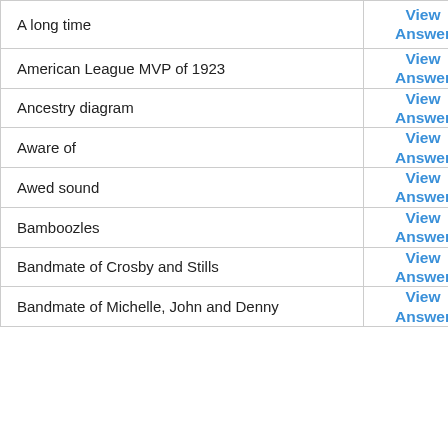| Clue | Action |
| --- | --- |
| A long time | View Answer |
| American League MVP of 1923 | View Answer |
| Ancestry diagram | View Answer |
| Aware of | View Answer |
| Awed sound | View Answer |
| Bamboozles | View Answer |
| Bandmate of Crosby and Stills | View Answer |
| Bandmate of Michelle, John and Denny | View Answer |